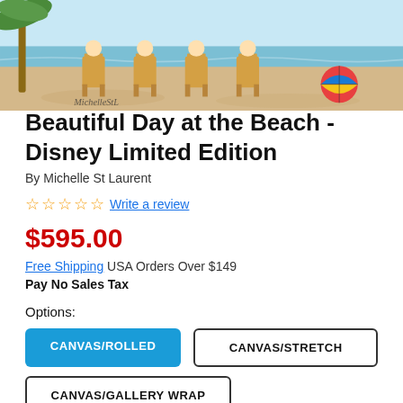[Figure (illustration): Beach scene illustration showing Disney characters sitting in Adirondack chairs on the beach with ocean in background, signed by Michelle St Laurent]
Beautiful Day at the Beach - Disney Limited Edition
By Michelle St Laurent
☆☆☆☆☆ Write a review
$595.00
Free Shipping USA Orders Over $149
Pay No Sales Tax
Options:
CANVAS/ROLLED
CANVAS/STRETCH
CANVAS/GALLERY WRAP